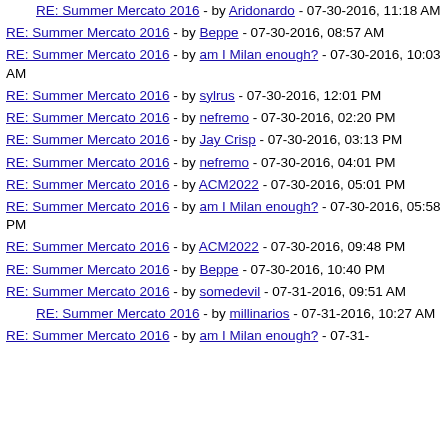RE: Summer Mercato 2016 - by Aridonardo - 07-30-2016, 11:18 AM
RE: Summer Mercato 2016 - by Beppe - 07-30-2016, 08:57 AM
RE: Summer Mercato 2016 - by am I Milan enough? - 07-30-2016, 10:03 AM
RE: Summer Mercato 2016 - by sylrus - 07-30-2016, 12:01 PM
RE: Summer Mercato 2016 - by nefremo - 07-30-2016, 02:20 PM
RE: Summer Mercato 2016 - by Jay Crisp - 07-30-2016, 03:13 PM
RE: Summer Mercato 2016 - by nefremo - 07-30-2016, 04:01 PM
RE: Summer Mercato 2016 - by ACM2022 - 07-30-2016, 05:01 PM
RE: Summer Mercato 2016 - by am I Milan enough? - 07-30-2016, 05:58 PM
RE: Summer Mercato 2016 - by ACM2022 - 07-30-2016, 09:48 PM
RE: Summer Mercato 2016 - by Beppe - 07-30-2016, 10:40 PM
RE: Summer Mercato 2016 - by somedevil - 07-31-2016, 09:51 AM
RE: Summer Mercato 2016 - by millinarios - 07-31-2016, 10:27 AM
RE: Summer Mercato 2016 - by am I Milan enough? - 07-31-...